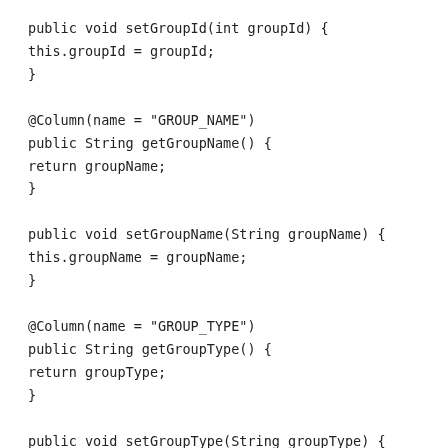public void setGroupId(int groupId) {
this.groupId = groupId;
}

@Column(name = "GROUP_NAME")
public String getGroupName() {
return groupName;
}

public void setGroupName(String groupName) {
this.groupName = groupName;
}

@Column(name = "GROUP_TYPE")
public String getGroupType() {
return groupType;
}

public void setGroupType(String groupType) {
this.groupType = groupType;
}